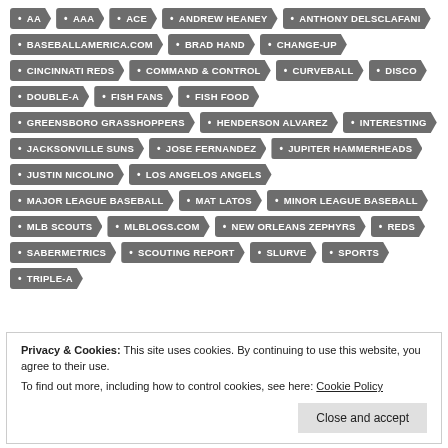AA
AAA
ACE
ANDREW HEANEY
ANTHONY DELSCLAFANI
BASEBALLAMERICA.COM
BRAD HAND
CHANGE-UP
CINCINNATI REDS
COMMAND & CONTROL
CURVEBALL
DISCO
DOUBLE-A
FISH FANS
FISH FOOD
GREENSBORO GRASSHOPPERS
HENDERSON ALVAREZ
INTERESTING
JACKSONVILLE SUNS
JOSE FERNANDEZ
JUPITER HAMMERHEADS
JUSTIN NICOLINO
LOS ANGELOS ANGELS
MAJOR LEAGUE BASEBALL
MAT LATOS
MINOR LEAGUE BASEBALL
MLB SCOUTS
MLBLOGS.COM
NEW ORLEANS ZEPHYRS
REDS
SABERMETRICS
SCOUTING REPORT
SLURVE
SPORTS
TRIPLE-A
Privacy & Cookies: This site uses cookies. By continuing to use this website, you agree to their use. To find out more, including how to control cookies, see here: Cookie Policy
Close and accept